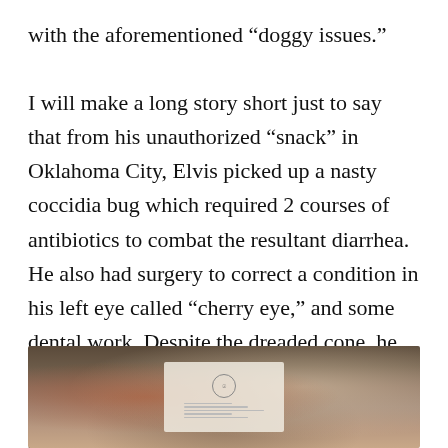with the aforementioned “doggy issues.”

I will make a long story short just to say that from his unauthorized “snack” in Oklahoma City, Elvis picked up a nasty coccidia bug which required 2 courses of antibiotics to combat the resultant diarrhea. He also had surgery to correct a condition in his left eye called “cherry eye,” and some dental work. Despite the dreaded cone, he developed a scratch on his cornea which necessitated multiple trips to the vet and additional medications. Sigh. It took about 6 weeks to fully heal from all of the trauma.
[Figure (photo): Photo showing papers/documents including what appears to be a veterinary or medical document with a seal/stamp, along with other items on a surface]